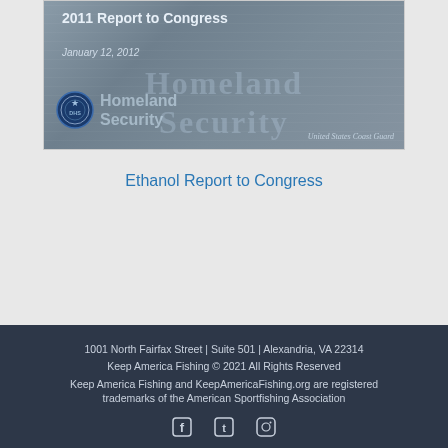[Figure (screenshot): Document cover page screenshot showing '2011 Report to Congress', dated January 12, 2012, with Department of Homeland Security seal and United States Coast Guard branding on a gray background]
Ethanol Report to Congress
1001 North Fairfax Street | Suite 501 | Alexandria, VA 22314
Keep America Fishing © 2021 All Rights Reserved
Keep America Fishing and KeepAmericaFishing.org are registered trademarks of the American Sportfishing Association